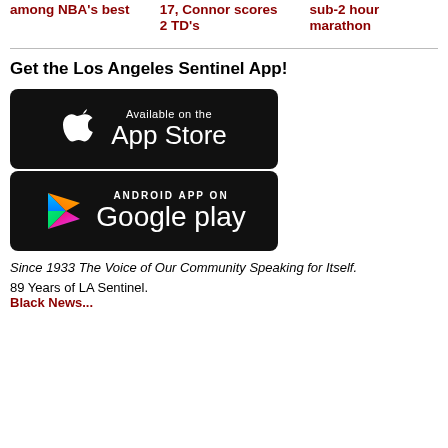among NBA's best
17, Connor scores 2 TD's
sub-2 hour marathon
Get the Los Angeles Sentinel App!
[Figure (logo): Apple App Store badge - black rounded rectangle with Apple logo and text 'Available on the App Store']
[Figure (logo): Google Play badge - black rounded rectangle with Google Play triangle logo and text 'ANDROID APP ON Google play']
Since 1933 The Voice of Our Community Speaking for Itself.
89 Years of LA Sentinel.
Black News...